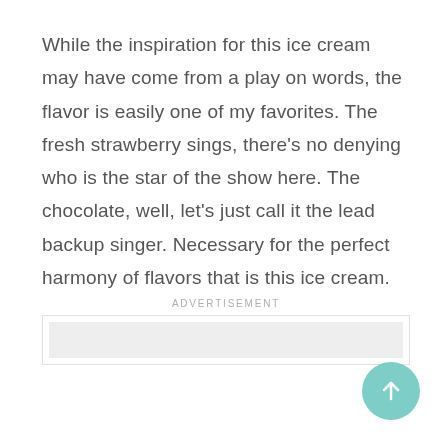While the inspiration for this ice cream may have come from a play on words, the flavor is easily one of my favorites. The fresh strawberry sings, there's no denying who is the star of the show here. The chocolate, well, let's just call it the lead backup singer. Necessary for the perfect harmony of flavors that is this ice cream.
ADVERTISEMENT
[Figure (other): Advertisement placeholder box with grey fill inside a bordered container]